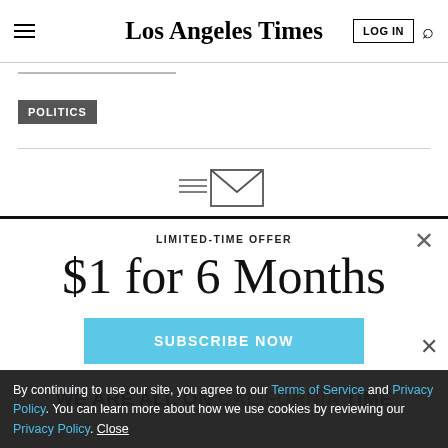Los Angeles Times
POLITICS
[Figure (illustration): Envelope/newsletter icon with horizontal lines to the left, representing a newsletter signup]
$1 for 6 Months
LIMITED-TIME OFFER
SUBSCRIBE NOW
By continuing to use our site, you agree to our Terms of Service and Privacy Policy. You can learn more about how we use cookies by reviewing our Privacy Policy. Close